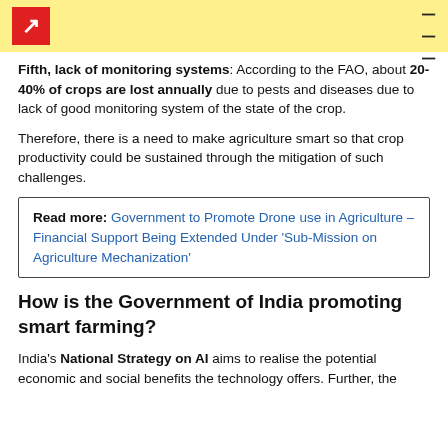Fifth, lack of monitoring systems: According to the FAO, about 20-40% of crops are lost annually due to pests and diseases due to lack of good monitoring system of the state of the crop.
Therefore, there is a need to make agriculture smart so that crop productivity could be sustained through the mitigation of such challenges.
Read more: Government to Promote Drone use in Agriculture – Financial Support Being Extended Under 'Sub-Mission on Agriculture Mechanization'
How is the Government of India promoting smart farming?
India's National Strategy on AI aims to realise the potential economic and social benefits the technology offers. Further, the